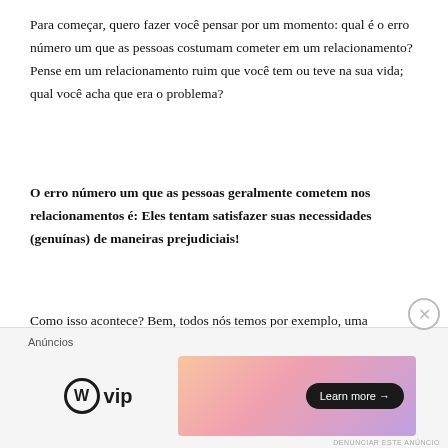Para começar, quero fazer você pensar por um momento: qual é o erro número um que as pessoas costumam cometer em um relacionamento? Pense em um relacionamento ruim que você tem ou teve na sua vida; qual você acha que era o problema?
O erro número um que as pessoas geralmente cometem nos relacionamentos é: Eles tentam satisfazer suas necessidades (genuínas) de maneiras prejudiciais!
Como isso acontece? Bem, todos nós temos por exemplo, uma necessidade de amor e aceitação, certo? Isso é totalmente natural, mas o problema começa quando tentamos obter esse amor e aceitação de uma fonte não saudável (e provavelmente vazia)!
[Figure (other): Advertisement bar with WordPress VIP logo on left and a gradient banner ad on right with 'Learn more' button]